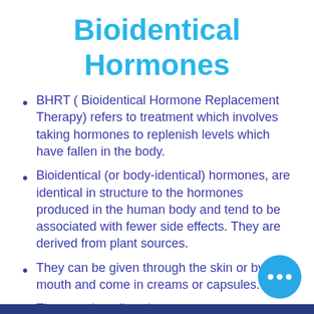Bioidentical Hormones
BHRT ( Bioidentical Hormone Replacement Therapy) refers to treatment which involves taking hormones to replenish levels which have fallen in the body.
Bioidentical (or body-identical) hormones, are identical in structure to the hormones produced in the human body and tend to be associated with fewer side effects. They are derived from plant sources.
They can be given through the skin or by mouth and come in creams or capsules.
They can be tailored to your individual needs at the exact d…